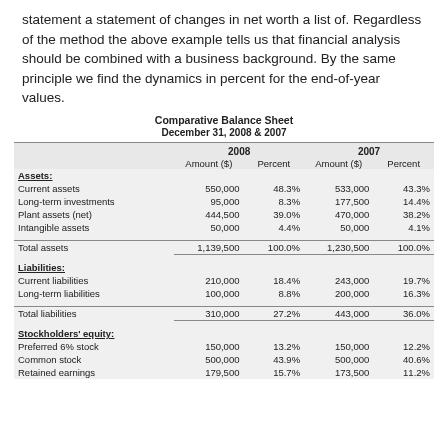statement a statement of changes in net worth a list of. Regardless of the method the above example tells us that financial analysis should be combined with a business background. By the same principle we find the dynamics in percent for the end-of-year values.
Comparative Balance Sheet
December 31, 2008 & 2007
|  | 2008 Amount ($) | 2008 Percent | 2007 Amount ($) | 2007 Percent |
| --- | --- | --- | --- | --- |
| Assets: |  |  |  |  |
| Current assets | 550,000 | 48.3% | 533,000 | 43.3% |
| Long-term investments | 95,000 | 8.3% | 177,500 | 14.4% |
| Plant assets (net) | 444,500 | 39.0% | 470,000 | 38.2% |
| Intangible assets | 50,000 | 4.4% | 50,000 | 4.1% |
| Total assets | 1,139,500 | 100.0% | 1,230,500 | 100.0% |
| Liabilities: |  |  |  |  |
| Current liabilities | 210,000 | 18.4% | 243,000 | 19.7% |
| Long-term liabilities | 100,000 | 8.8% | 200,000 | 16.3% |
| Total liabilities | 310,000 | 27.2% | 443,000 | 36.0% |
| Stockholders' equity: |  |  |  |  |
| Preferred 6% stock | 150,000 | 13.2% | 150,000 | 12.2% |
| Common stock | 500,000 | 43.9% | 500,000 | 40.6% |
| Retained earnings | 179,500 | 15.7% | 173,500 | 11.2% |